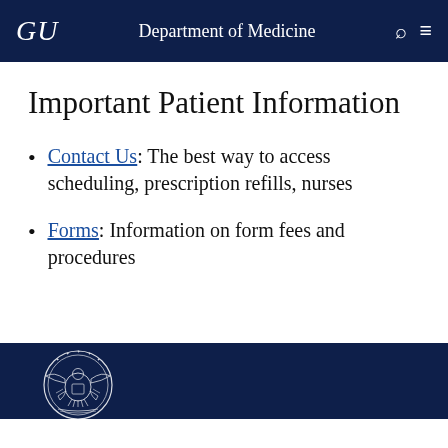GU  Department of Medicine
Important Patient Information
Contact Us: The best way to access scheduling, prescription refills, nurses
Forms: Information on form fees and procedures
[Figure (logo): Georgetown University seal/crest in white outline on navy blue background, partially visible at bottom of page]